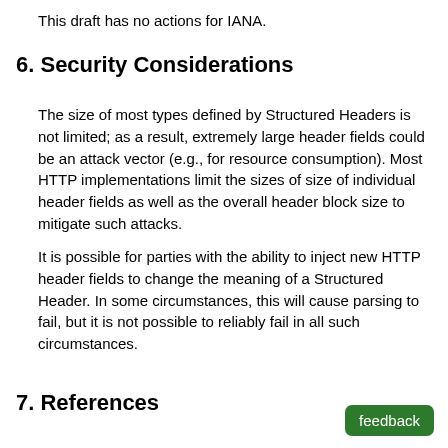This draft has no actions for IANA.
6. Security Considerations
The size of most types defined by Structured Headers is not limited; as a result, extremely large header fields could be an attack vector (e.g., for resource consumption). Most HTTP implementations limit the sizes of size of individual header fields as well as the overall header block size to mitigate such attacks.
It is possible for parties with the ability to inject new HTTP header fields to change the meaning of a Structured Header. In some circumstances, this will cause parsing to fail, but it is not possible to reliably fail in all such circumstances.
7. References